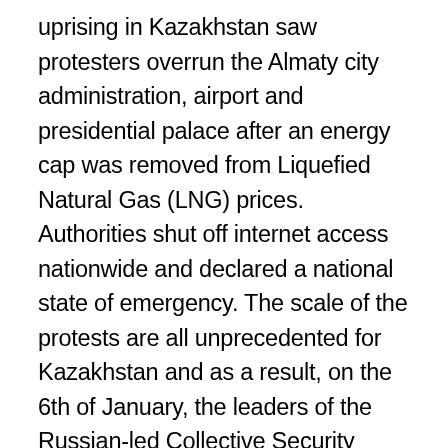uprising in Kazakhstan saw protesters overrun the Almaty city administration, airport and presidential palace after an energy cap was removed from Liquefied Natural Gas (LNG) prices. Authorities shut off internet access nationwide and declared a national state of emergency. The scale of the protests are all unprecedented for Kazakhstan and as a result, on the 6th of January, the leaders of the Russian-led Collective Security Treaty Organization (CTSO) agreed to invoke the organisation's Article 4 obligations to send “peacekeeping” forces to Kazakhstan following a request from the country’s president Kassym-Jomart Tokayev. The president considered the protests an “external” and “terrorist” threat. Kazakhstan was in the middle of a power